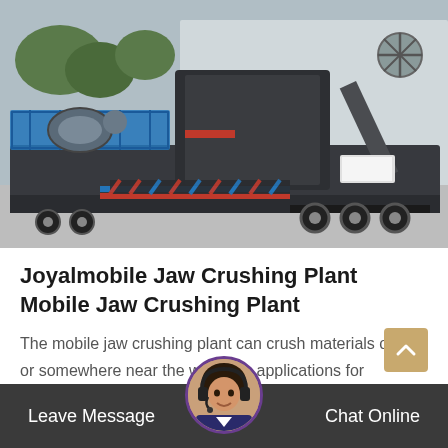[Figure (photo): A large mobile jaw crushing plant mounted on a flatbed trailer with multiple axles, parked in an industrial yard. The machine is dark grey/black with blue railings and red/blue accent stripes. Trees and a warehouse building are visible in the background.]
Joyalmobile Jaw Crushing Plant Mobile Jaw Crushing Plant
The mobile jaw crushing plant can crush materials on site or somewhere near the work site applications for prima hing plants there are